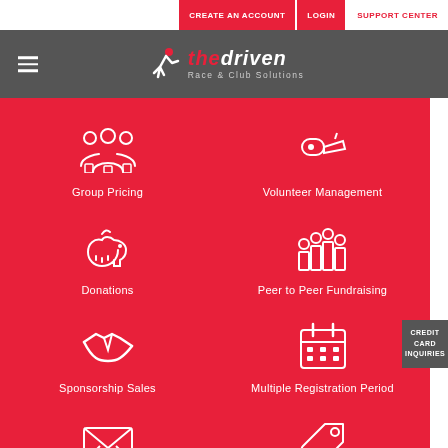CREATE AN ACCOUNT | LOGIN | SUPPORT CENTER
[Figure (logo): The Driven Race & Club Solutions logo with hamburger menu icon]
[Figure (infographic): Feature grid on red background showing: Group Pricing (people icon), Volunteer Management (whistle icon), Donations (piggy bank icon), Peer to Peer Fundraising (team icon), Sponsorship Sales (handshake icon), Multiple Registration Period (calendar icon), Communications (envelope icon), Discount Codes (tag icon)]
CREDIT CARD INQUIRIES